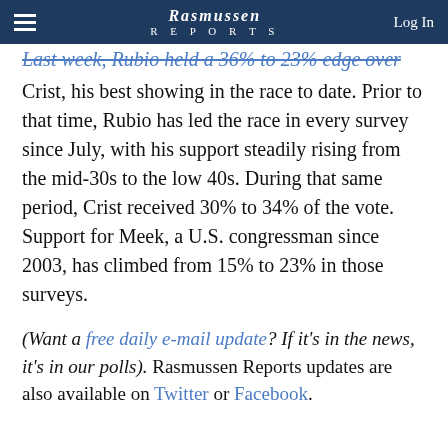Rasmussen Reports — Log In
Last week, Rubio held a 36% to 23% edge over Crist, his best showing in the race to date. Prior to that time, Rubio has led the race in every survey since July, with his support steadily rising from the mid-30s to the low 40s. During that same period, Crist received 30% to 34% of the vote. Support for Meek, a U.S. congressman since 2003, has climbed from 15% to 23% in those surveys.
(Want a free daily e-mail update? If it's in the news, it's in our polls). Rasmussen Reports updates are also available on Twitter or Facebook.